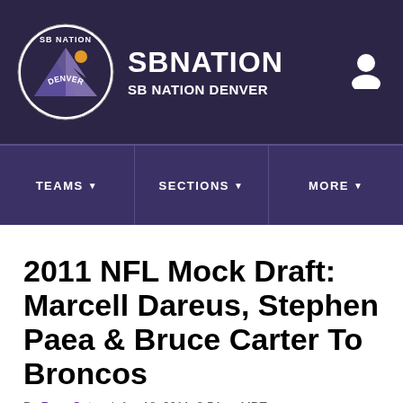SB NATION / SB NATION DENVER
2011 NFL Mock Draft: Marcell Dareus, Stephen Paea & Bruce Carter To Broncos
By Russ Oates | Apr 18, 2011, 8:54am MDT
SHARE